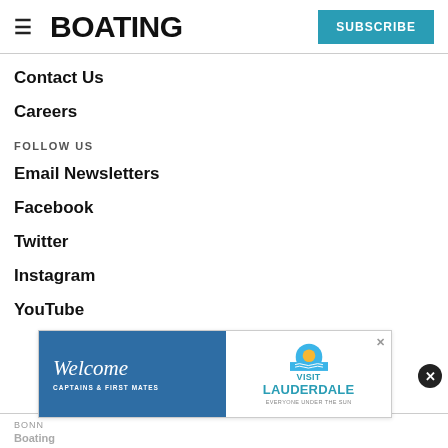BOATING | SUBSCRIBE
Contact Us
Careers
FOLLOW US
Email Newsletters
Facebook
Twitter
Instagram
YouTube
BONN
Boating
[Figure (screenshot): Advertisement banner: Welcome Captains & First Mates — Visit Lauderdale, Everyone Under the Sun]